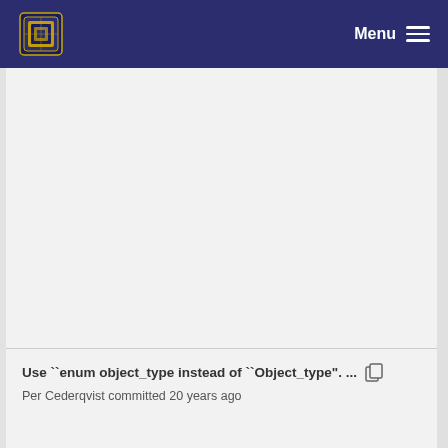Menu
Use ``enum object_type instead of ``Object_type". ...
Per Cederqvist committed 20 years ago